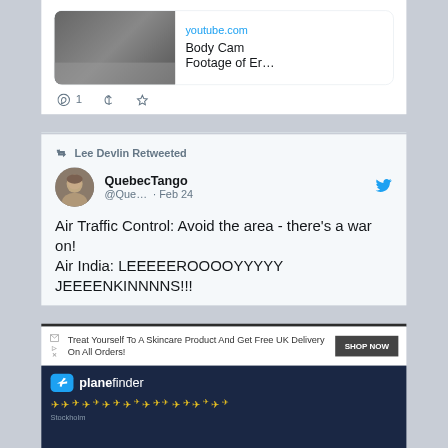[Figure (screenshot): YouTube video embed showing 'youtube.com / Body Cam Footage of Er...' with play button thumbnail]
1 [comment icon] [heart icon]
Lee Devlin Retweeted
QuebecTango @Que... · Feb 24
Air Traffic Control: Avoid the area - there's a war on!
Air India: LEEEEEROOOOYYYYY JEEEENKINNNNS!!!
[Figure (screenshot): Advertisement: Treat Yourself To A Skincare Product And Get Free UK Delivery On All Orders! SHOP NOW button. Below: planefinder banner with airplane symbols on dark blue background.]